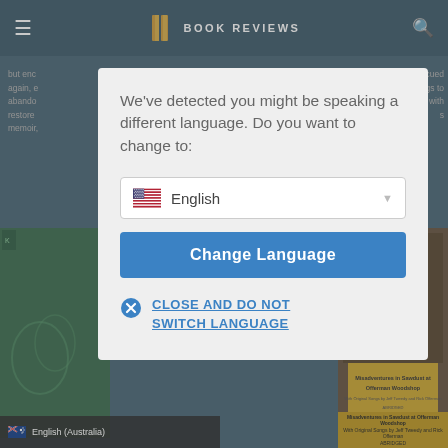BOOK REVIEWS
but enc... again, e... abando... restore... memoir,
escued pigs to with s
[Figure (screenshot): Language selection modal dialog on Book Reviews website with English (US flag) dropdown and Change Language button]
We've detected you might be speaking a different language. Do you want to change to:
English
Change Language
CLOSE AND DO NOT SWITCH LANGUAGE
English (Australia)
Misadventures in Sawdust at Offerman Woodshop
With Original Songs by Jeff Tweedy and Rick Offerman
ABRIDGED